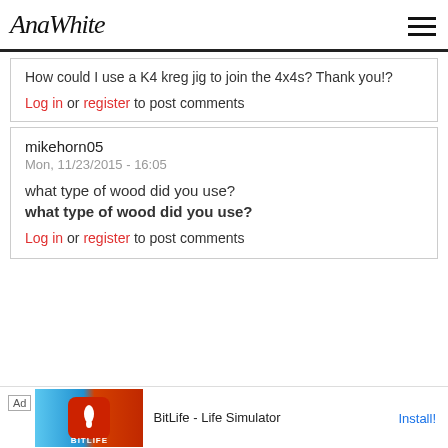AnaWhite
How could I use a K4 kreg jig to join the 4x4s? Thank you!?
Log in or register to post comments
mikehorn05
Mon, 11/23/2015 - 16:05
what type of wood did you use?
what type of wood did you use?
Log in or register to post comments
[Figure (screenshot): Ad banner for BitLife - Life Simulator with Install button]